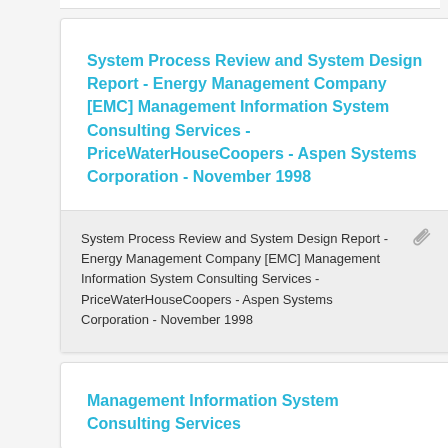System Process Review and System Design Report - Energy Management Company [EMC] Management Information System Consulting Services - PriceWaterHouseCoopers - Aspen Systems Corporation - November 1998
System Process Review and System Design Report - Energy Management Company [EMC] Management Information System Consulting Services - PriceWaterHouseCoopers - Aspen Systems Corporation - November 1998
Management Information System Consulting Services